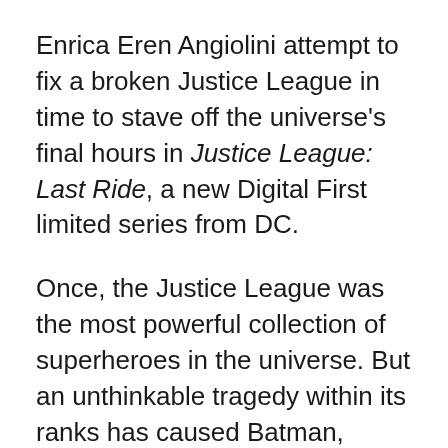Enrica Eren Angiolini attempt to fix a broken Justice League in time to stave off the universe's final hours in Justice League: Last Ride, a new Digital First limited series from DC.
Once, the Justice League was the most powerful collection of superheroes in the universe. But an unthinkable tragedy within its ranks has caused Batman, Superman and Wonder Woman to go their separate ways, leaving the League broken and disbanded under a veil of anger and mistrust. Now, against the backdrop of the universe's greatest murder trial, can the League